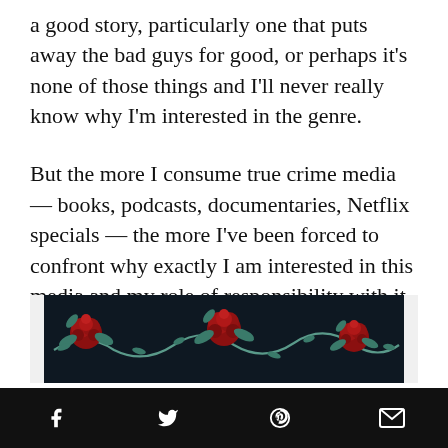a good story, particularly one that puts away the bad guys for good, or perhaps it's none of those things and I'll never really know why I'm interested in the genre.
But the more I consume true crime media — books, podcasts, documentaries, Netflix specials — the more I've been forced to confront why exactly I am interested in this media and my role of responsibility with it.
Advertisement
[Figure (illustration): Dark navy background with decorative cross-stitch style rose and vine border pattern; three red roses with teal leaves and curling vines.]
[Figure (infographic): Social sharing bar with Facebook, Twitter, Pinterest, and email icons on black background.]